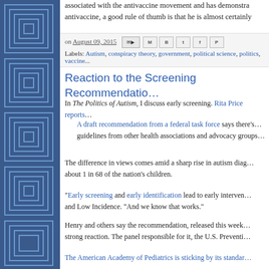[Figure (illustration): Blue decorative sidebar with nested square patterns in lighter blue]
associated with the antivaccine movement and has demonstra... antivaccine, a good rule of thumb is that he is almost certainly...
on August 09, 2015
Labels: Autism, conspiracy theory, government, political science, politics, vaccine...
Reaction to the Screening Recommendatio...
In The Politics of Autism, I discuss early screening. Rita Price reports...
A draft recommendation from a federal task force says there's... guidelines from other health associations and advocacy groups...
The difference in views comes amid a sharp rise in autism diag... about 1 in 68 of the nation's children.
"Early screening and early identification lead to early interven... and Low Incidence. "And we know that works."
Henry and others say the recommendation, released this week... strong reaction. The panel responsible for it, the U.S. Preventi...
The American Academy of Pediatrics is sticking by its standar...